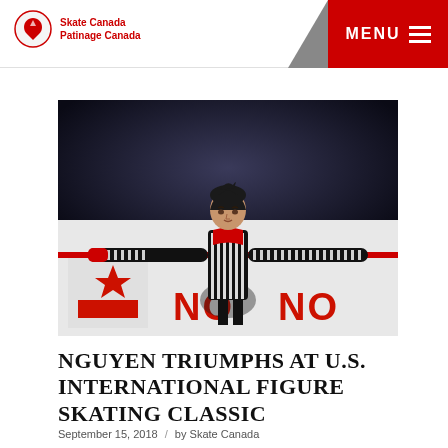Skate Canada / Patinage Canada
[Figure (photo): Male figure skater performing on ice, wearing a black and white striped costume with red accents, arms outstretched. Skate Canada banner visible in background.]
NGUYEN TRIUMPHS AT U.S. INTERNATIONAL FIGURE SKATING CLASSIC
September 15, 2018 / by Skate Canada